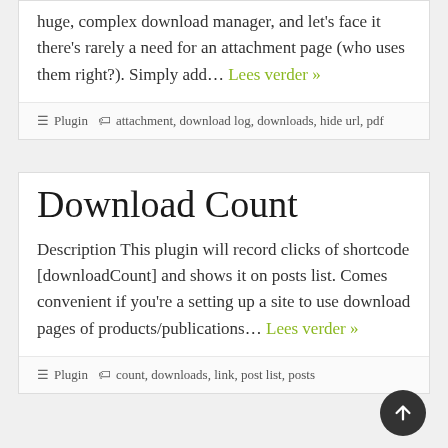huge, complex download manager, and let's face it there's rarely a need for an attachment page (who uses them right?). Simply add… Lees verder »
Plugin  attachment, download log, downloads, hide url, pdf
Download Count
Description This plugin will record clicks of shortcode [downloadCount] and shows it on posts list. Comes convenient if you're a setting up a site to use download pages of products/publications… Lees verder »
Plugin  count, downloads, link, post list, posts